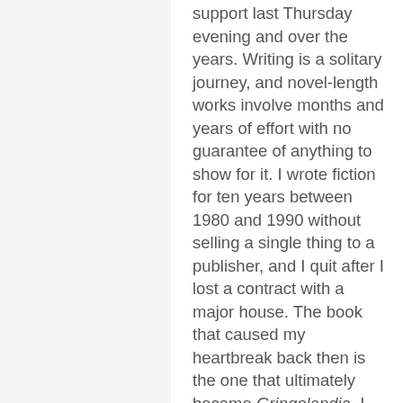support last Thursday evening and over the years. Writing is a solitary journey, and novel-length works involve months and years of effort with no guarantee of anything to show for it. I wrote fiction for ten years between 1980 and 1990 without selling a single thing to a publisher, and I quit after I lost a contract with a major house. The book that caused my heartbreak back then is the one that ultimately became Gringolandia. I simply couldn't let it go. And Surviving Santiago would